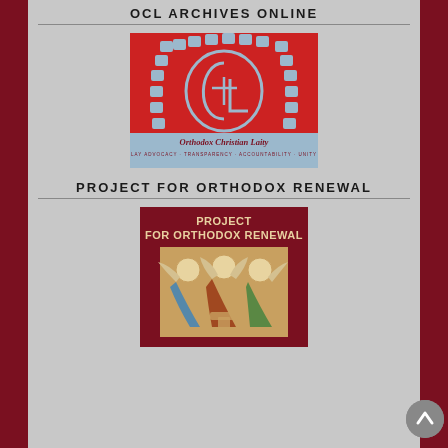OCL ARCHIVES ONLINE
[Figure (logo): Orthodox Christian Laity logo on red background with arch and OLC letters, tagline: LAY ADVOCACY · TRANSPARENCY · ACCOUNTABILITY · UNITY]
PROJECT FOR ORTHODOX RENEWAL
[Figure (photo): Project for Orthodox Renewal book cover with dark red background showing three angels from the Trinity icon]